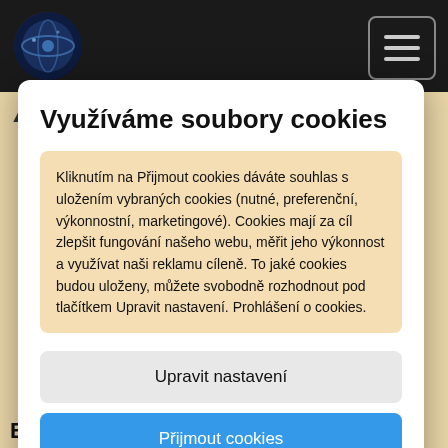And Also the Trees (1984)
Využíváme soubory cookies
Kliknutím na Přijmout cookies dáváte souhlas s uložením vybraných cookies (nutné, preferenční, výkonnostní, marketingové). Cookies mají za cíl zlepšit fungování našeho webu, měřit jeho výkonnost a využívat naši reklamu cíleně. To jaké cookies budou uloženy, můžete svobodně rozhodnout pod tlačítkem Upravit nastavení. Prohlášení o cookies.
Upravit nastavení
Přijmout cookies
EPs: